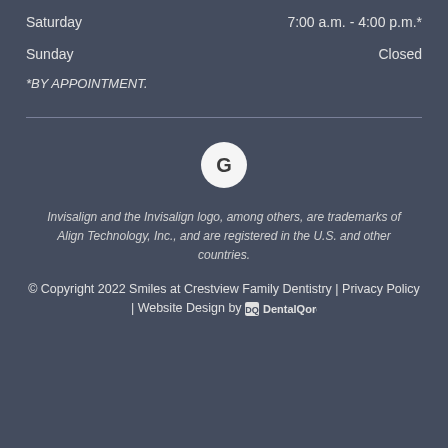Saturday    7:00 a.m. - 4:00 p.m.*
Sunday    Closed
*BY APPOINTMENT.
[Figure (logo): Google G logo in a white circle]
Invisalign and the Invisalign logo, among others, are trademarks of Align Technology, Inc., and are registered in the U.S. and other countries.
© Copyright 2022 Smiles at Crestview Family Dentistry | Privacy Policy | Website Design by DentalQore